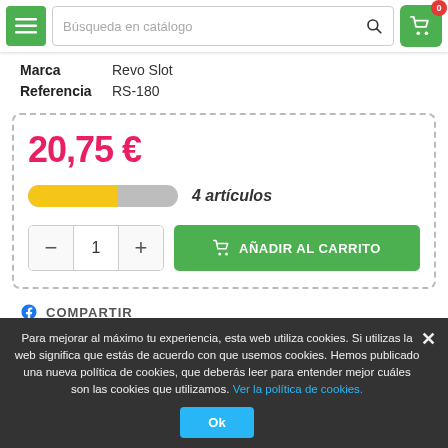Búsqueda en catálogo
Marca: Revo Slot
Referencia: RS-180
20,75 €
4 artículos
AÑADIR AL CARRITO
COMPARTIR
Para mejorar al máximo tu experiencia, esta web utiliza cookies. Si utilizas la web significa que estás de acuerdo con que usemos cookies. Hemos publicado una nueva política de cookies, que deberás leer para entender mejor cuáles son las cookies que utilizamos. Ver la política de cookies.
Ok